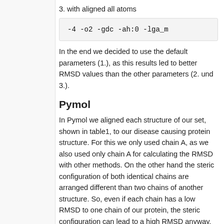3. with aligned all atoms
In the end we decided to use the default parameters (1.), as this results led to better RMSD values than the other parameters (2. und 3.).
Pymol
In Pymol we aligned each structure of our set, shown in table1, to our disease causing protein structure. For this we only used chain A, as we also used only chain A for calculating the RMSD with other methods. On the other hand the steric configuration of both identical chains are arranged different than two chains of another structure. So, even if each chain has a low RMSD to one chain of our protein, the steric configuration can lead to a high RMSD anyway.
To align all atoms: